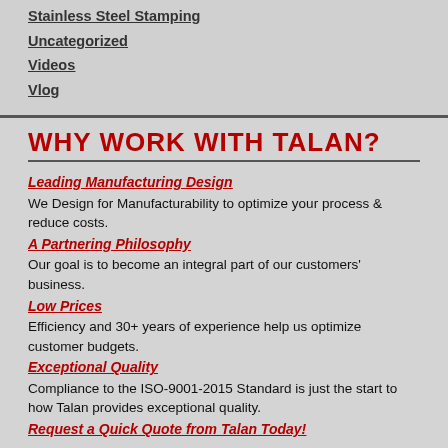Stainless Steel Stamping
Uncategorized
Videos
Vlog
WHY WORK WITH TALAN?
Leading Manufacturing Design
We Design for Manufacturability to optimize your process & reduce costs.
A Partnering Philosophy
Our goal is to become an integral part of our customers' business.
Low Prices
Efficiency and 30+ years of experience help us optimize customer budgets.
Exceptional Quality
Compliance to the ISO-9001-2015 Standard is just the start to how Talan provides exceptional quality.
Request a Quick Quote from Talan Today!
Why do 2,322 of your colleagues subscribe to our bi-monthly newsletter? Join them and find out!*
Get Our Newsletter